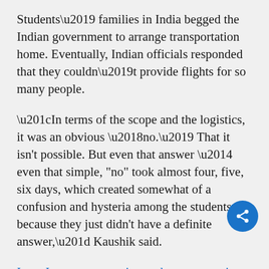Students' families in India begged the Indian government to arrange transportation home. Eventually, Indian officials responded that they couldn't provide flights for so many people.
“In terms of the scope and the logistics, it was an obvious ‘no.’ That it isn't possible. But even that answer — even that simple, "no" took almost four, five, six days, which created somewhat of a confusion and hysteria among the students because they just didn't have a definite answer,” Kaushik said.
In an Instagram question and answer session with students that was streamed live April 11, Indian Ambassador to the US Taranjit Singh Sandhu said